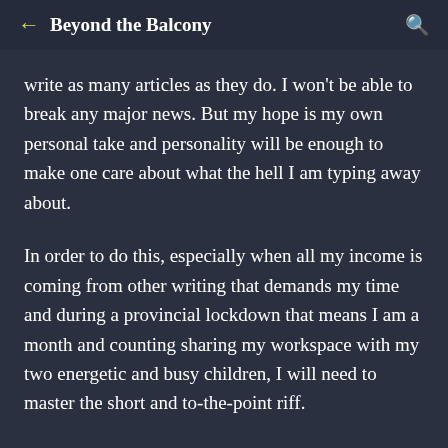Beyond the Balcony
write as many articles as they do. I won't be able to break any major news. But my hope is my own personal take and personality will be enough to make one care about what the hell I am typing away about.
In order to do this, especially when all my income is coming from other writing that demands my time and during a provincial lockdown that means I am a month and counting sharing my workspace with my two energetic and busy children, I will need to master the short and to-the-point riff.